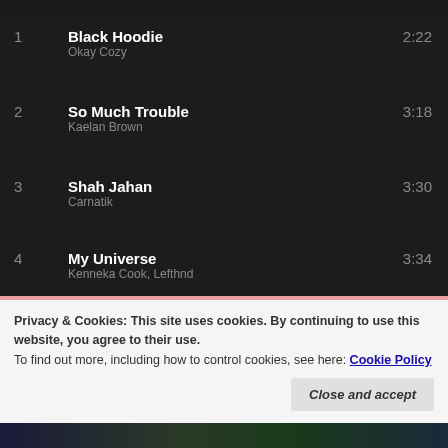1  Black Hoodie  2:22
Okay Cozy
2  So Much Trouble  3:18
Kaelan Brown
3  Shah Jahan  3:30
Carnatik
4  My Universe  3:34
Kenneka Cook, Lefthnd
5  Cruise!  4:08
Shormey
6  KPM Joint  1:10
Greg Lou
Privacy & Cookies: This site uses cookies. By continuing to use this website, you agree to their use.
To find out more, including how to control cookies, see here: Cookie Policy
Close and accept